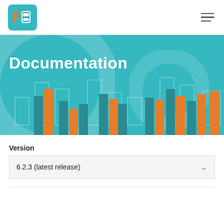Documentation
[Figure (illustration): Hero banner with teal background showing decorative grouped bar chart silhouettes in teal and orange colors, with a large light circle watermark in the background.]
Version
6.2.3 (latest release)